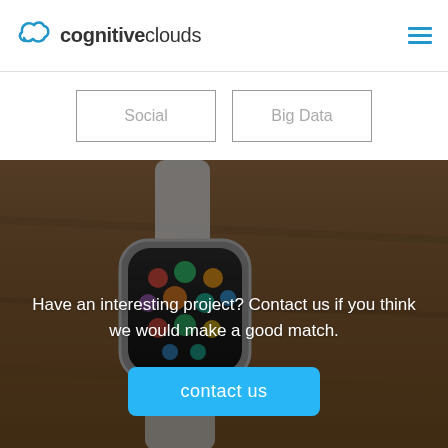cognitiveclouds
Social
Big Data
[Figure (photo): Apple Watch on a wooden surface, showing app grid on screen, with a darkened overlay]
Have an interesting project? Contact us if you think we would make a good match.
contact us